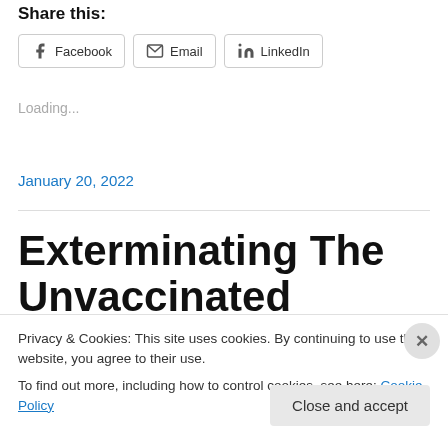Share this:
Facebook   Email   LinkedIn
Loading...
January 20, 2022
Exterminating The Unvaccinated
Privacy & Cookies: This site uses cookies. By continuing to use this website, you agree to their use.
To find out more, including how to control cookies, see here: Cookie Policy